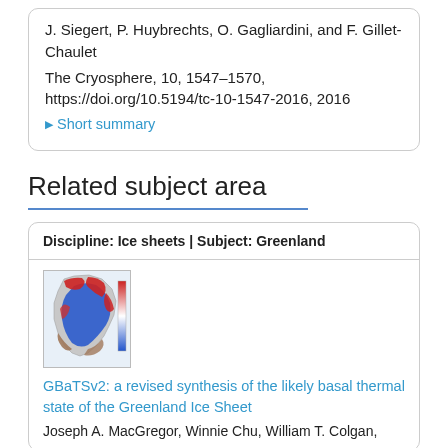J. Siegert, P. Huybrechts, O. Gagliardini, and F. Gillet-Chaulet
The Cryosphere, 10, 1547–1570, https://doi.org/10.5194/tc-10-1547-2016, 2016
▶ Short summary
Related subject area
Discipline: Ice sheets | Subject: Greenland
[Figure (map): Map of Greenland showing basal thermal state with red and blue colored regions on a geographic outline]
GBaTSv2: a revised synthesis of the likely basal thermal state of the Greenland Ice Sheet
Joseph A. MacGregor, Winnie Chu, William T. Colgan,